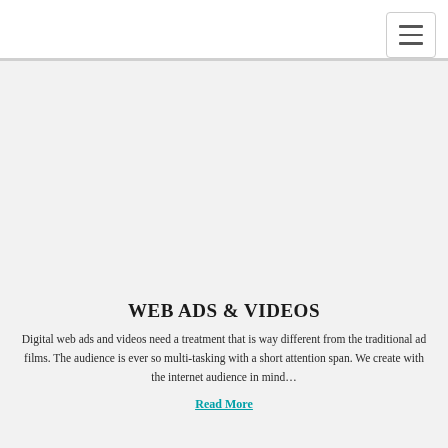WEB ADS & VIDEOS
Digital web ads and videos need a treatment that is way different from the traditional ad films. The audience is ever so multi-tasking with a short attention span. We create with the internet audience in mind…
Read More